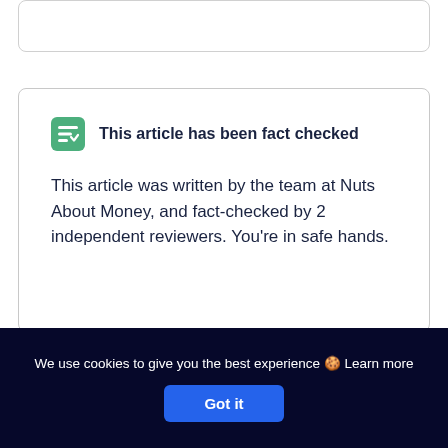This article has been fact checked
This article was written by the team at Nuts About Money, and fact-checked by 2 independent reviewers. You're in safe hands.
We use cookies to give you the best experience 🍪 Learn more
Got it